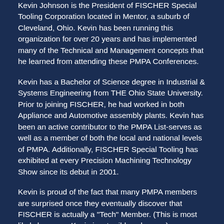Kevin Johnson is the President of FISCHER Special Tooling Corporation located in Mentor, a suburb of Cleveland, Ohio. Kevin has been running this organization for over 20 years and has implemented many of the Technical and Management concepts that he learned from attending these PMPA Conferences.
Kevin has a Bachelor of Science degree in Industrial & Systems Engineering from THE Ohio State University. Prior to joining FISCHER, he had worked in both Appliance and Automotive assembly plants. Kevin has been an active contributor to the PMPA List-serves as well as a member of both the local and national levels of PMPA. Additionally, FISCHER Special Tooling has exhibited at every Precision Machining Technology Show since its debut in 2001.
Kevin is proud of the fact that many PMPA members are surprised once they eventually discover that FISCHER is actually a "Tech" Member. (This is most likely because, Kevin is a terrible salesman).
[Figure (photo): A headshot photo of a person with a white background, showing the upper portion of a person's head with dark hair, partially cropped at the bottom of the page.]